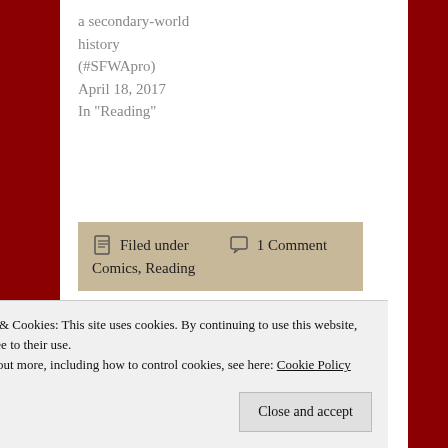a secondary-world history (#SFWApro)
April 18, 2017
In "Reading"
Filed under
Comics, Reading
1 Comment
One response to “From stage magic
Privacy & Cookies: This site uses cookies. By continuing to use this website, you agree to their use.
To find out more, including how to control cookies, see here: Cookie Policy
Close and accept
Pingback: John Le Carre, sex, the south